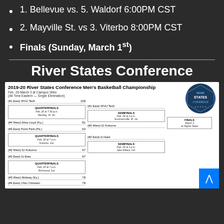1. Bellevue vs. 5. Waldorf 6:00PM CST
2. Mayville St. vs 3. Viterbo 8:00PM CST
Finals (Sunday, March 1st)
River States Conference
[Figure (infographic): 2019-20 River States Conference Men's Basketball Championship bracket showing quarterfinals, semifinals, and finals. Feb. 26-March 3 at Campus Sites. Teams include WVU Tech, Alice Lloyd (Ky.), Point Park (Pa.), IU Kokomo, IU East, Midway (Ky.), Ohio Christian. Finals on March 3 at Higher Seed.]